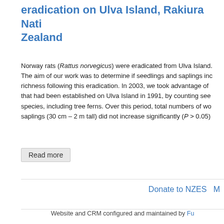eradication on Ulva Island, Rakiura National Park, New Zealand
Norway rats (Rattus norvegicus) were eradicated from Ulva Island. The aim of our work was to determine if seedlings and saplings increased in richness following this eradication. In 2003, we took advantage of plots that had been established on Ulva Island in 1991, by counting seedlings species, including tree ferns. Over this period, total numbers of woody saplings (30 cm – 2 m tall) did not increase significantly (P > 0.05)
Read more
Donate to NZES   M
Website and CRM configured and maintained by Fu